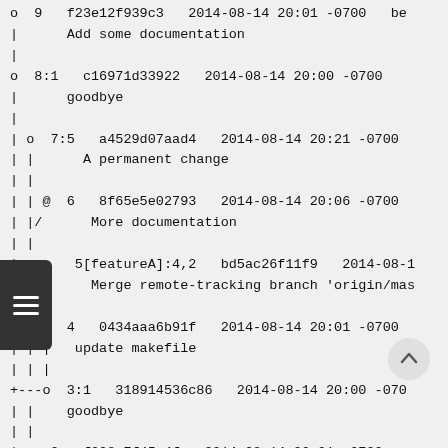o  9   f23e12f939c3   2014-08-14 20:01 -0700   be
|      Add some documentation
|
o  8:1   c16971d33922   2014-08-14 20:00 -0700   |
|      goodbye
|
| o  7:5   a4529d07aad4   2014-08-14 20:21 -0700
| |      A permanent change
| |
| | @  6   8f65e5e02793   2014-08-14 20:06 -0700
| |/      More documentation
| |
| o     5[featureA]:4,2   bd5ac26f11f9   2014-08-1
| |\      Merge remote-tracking branch 'origin/mas
| | |
| | o  4   0434aaa6b91f   2014-08-14 20:01 -0700
| | |   update makefile
| | |
+---o  3:1   318914536c86   2014-08-14 20:00 -070
| |    goodbye
| |
| o  2   f098c7f45c4f   2014-08-14 20:01 -0700   |
|/      Add some documentation
|
o  1   82e55d328c8c   2005-08-26 01:21 -0700   mp